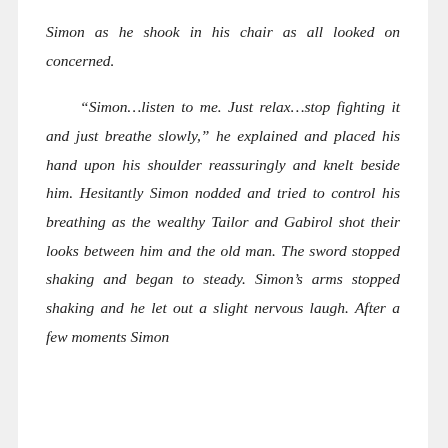Simon as he shook in his chair as all looked on concerned.

“Simon…listen to me. Just relax…stop fighting it and just breathe slowly,” he explained and placed his hand upon his shoulder reassuringly and knelt beside him. Hesitantly Simon nodded and tried to control his breathing as the wealthy Tailor and Gabirol shot their looks between him and the old man. The sword stopped shaking and began to steady. Simon’s arms stopped shaking and he let out a slight nervous laugh. After a few moments Simon